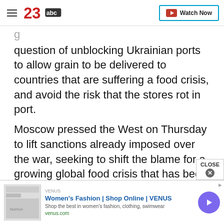[Figure (logo): 23abc news logo with hamburger menu and Watch Now button]
question of unblocking Ukrainian ports to allow grain to be delivered to countries that are suffering a food crisis, and avoid the risk that the stores rot in port.
Moscow pressed the West on Thursday to lift sanctions already imposed over the war, seeking to shift the blame for a growing global food crisis that has been worsened by Kyiv's inability to ship millions of tons of grain and other agricultural products while under attack.
[Figure (infographic): Advertisement banner: Women's Fashion | Shop Online | VENUS. Shop the best in women's fashion, clothing, swimwear. venus.com]